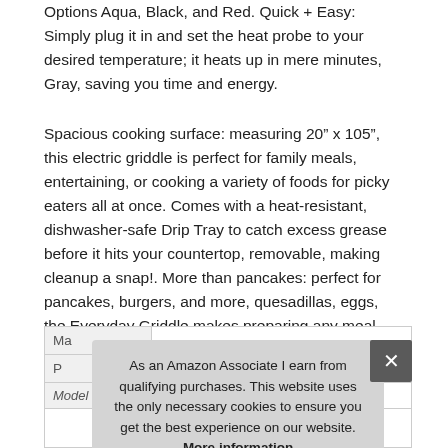Options Aqua, Black, and Red. Quick + Easy: Simply plug it in and set the heat probe to your desired temperature; it heats up in mere minutes, Gray, saving you time and energy.
Spacious cooking surface: measuring 20" x 105", this electric griddle is perfect for family meals, entertaining, or cooking a variety of foods for picky eaters all at once. Comes with a heat-resistant, dishwasher-safe Drip Tray to catch excess grease before it hits your countertop, removable, making cleanup a snap!. More than pancakes: perfect for pancakes, burgers, and more, quesadillas, eggs, the Everyday Griddle makes preparing any meal more convenient than ever.
| Ma |  |
| P |  |
| Model | DEG2556BRD01 |
As an Amazon Associate I earn from qualifying purchases. This website uses the only necessary cookies to ensure you get the best experience on our website. More information